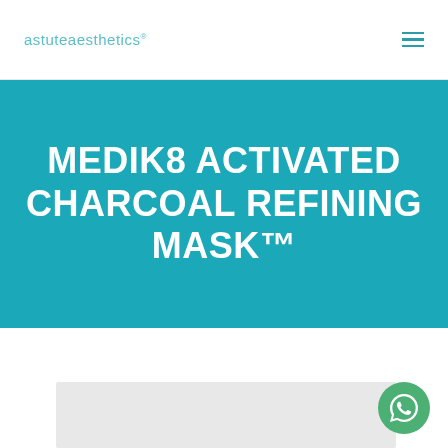astuteaesthetics® ☰
MEDIK8 ACTIVATED CHARCOAL REFINING MASK™
[Figure (other): Partial product image visible at bottom of page, light gray background]